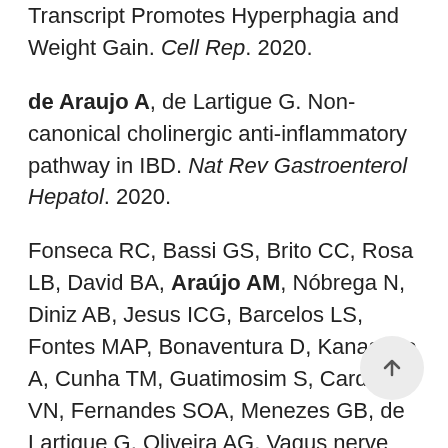Transcript Promotes Hyperphagia and Weight Gain. Cell Rep. 2020.
de Araujo A, de Lartigue G. Non-canonical cholinergic anti-inflammatory pathway in IBD. Nat Rev Gastroenterol Hepatol. 2020.
Fonseca RC, Bassi GS, Brito CC, Rosa LB, David BA, Araújo AM, Nóbrega N, Diniz AB, Jesus ICG, Barcelos LS, Fontes MAP, Bonaventura D, Kanashiro A, Cunha TM, Guatimosim S, Cardoso VN, Fernandes SOA, Menezes GB, de Lartigue G, Oliveira AG. Vagus nerve regulates the phagocytic and secretory activity of resident